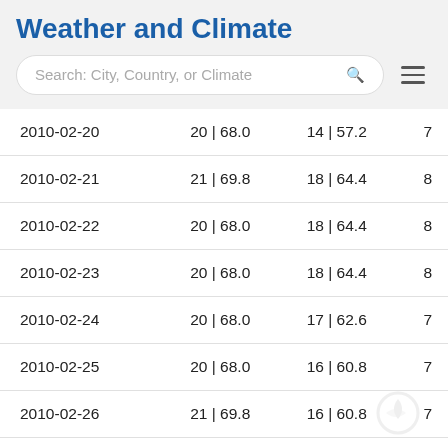Weather and Climate
| Date | Max Temp | Min Temp |  |
| --- | --- | --- | --- |
| 2010-02-20 | 20 | 68.0 | 14 | 57.2 | 7 |
| 2010-02-21 | 21 | 69.8 | 18 | 64.4 | 8 |
| 2010-02-22 | 20 | 68.0 | 18 | 64.4 | 8 |
| 2010-02-23 | 20 | 68.0 | 18 | 64.4 | 8 |
| 2010-02-24 | 20 | 68.0 | 17 | 62.6 | 7 |
| 2010-02-25 | 20 | 68.0 | 16 | 60.8 | 7 |
| 2010-02-26 | 21 | 69.8 | 16 | 60.8 | 7 |